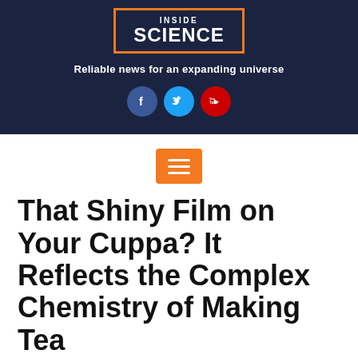[Figure (logo): Inside Science logo with orange bracket border on dark navy background]
Reliable news for an expanding universe
[Figure (infographic): Social media icons: Facebook, Twitter, YouTube]
[Figure (infographic): Orange hamburger menu button with three white horizontal lines]
That Shiny Film on Your Cuppa? It Reflects the Complex Chemistry of Making Tea
Black tea films crack more easily than green tea films, while red tea forms no